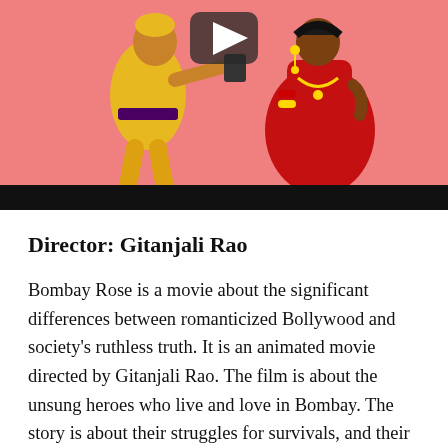[Figure (illustration): Animated illustration of two Indian characters on a pink background: a male figure in yellow traditional attire on the left, and a female figure in red traditional attire with jewelry on the right. A video play button overlay appears at the top center. A black bar runs across the bottom of the image.]
Director: Gitanjali Rao
Bombay Rose is a movie about the significant differences between romanticized Bollywood and society's ruthless truth. It is an animated movie directed by Gitanjali Rao. The film is about the unsung heroes who live and love in Bombay. The story is about their struggles for survivals, and their willingness to deal with the it makes heroes out of them. The movie will be coming soon on Netflix. Moreover, Bombay Rose is the first Indian animated